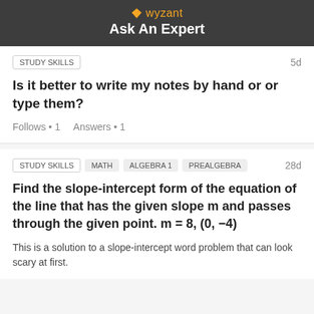wyzant Ask An Expert
STUDY SKILLS | 5d
Is it better to write my notes by hand or or type them?
Follows • 1   Answers • 1
STUDY SKILLS | MATH | ALGEBRA 1 | PREALGEBRA | 28d
Find the slope-intercept form of the equation of the line that has the given slope m and passes through the given point. m = 8, (0, −4)
This is a solution to a slope-intercept word problem that can look scary at first.